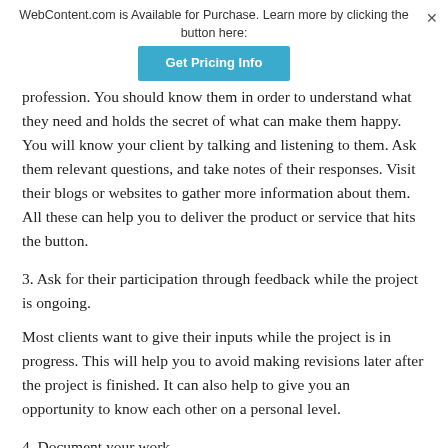WebContent.com is Available for Purchase. Learn more by clicking the button here: Get Pricing Info
profession. You should know them in order to understand what they need and holds the secret of what can make them happy. You will know your client by talking and listening to them. Ask them relevant questions, and take notes of their responses. Visit their blogs or websites to gather more information about them. All these can help you to deliver the product or service that hits the button.
3. Ask for their participation through feedback while the project is ongoing.
Most clients want to give their inputs while the project is in progress. This will help you to avoid making revisions later after the project is finished. It can also help to give you an opportunity to know each other on a personal level.
4. Document your work.
Documentation is an easy way to keep track of your